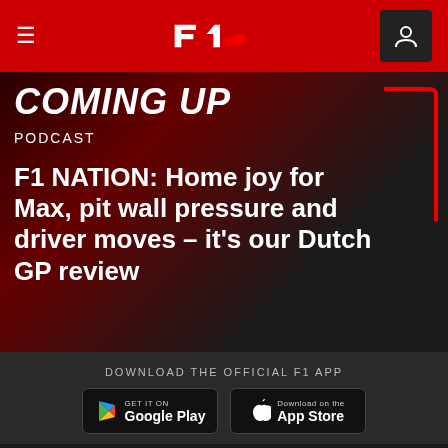F1 Navigation bar with hamburger menu, F1 logo, and user icon
COMING UP
PODCAST
F1 NATION: Home joy for Max, pit wall pressure and driver moves – it's our Dutch GP review
DOWNLOAD THE OFFICIAL F1 APP
[Figure (screenshot): Google Play store badge]
[Figure (screenshot): Apple App Store badge]
[Figure (infographic): Social media icons: Facebook, Twitter, Instagram, YouTube]
Our partners >